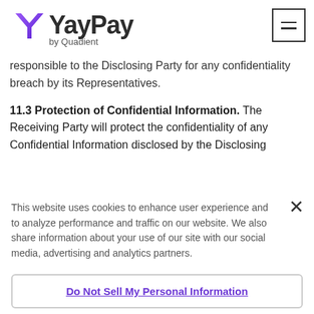YayPay by Quadient
responsible to the Disclosing Party for any confidentiality breach by its Representatives.
11.3 Protection of Confidential Information. The Receiving Party will protect the confidentiality of any Confidential Information disclosed by the Disclosing
This website uses cookies to enhance user experience and to analyze performance and traffic on our website. We also share information about your use of our site with our social media, advertising and analytics partners.
Do Not Sell My Personal Information
Accept Cookies